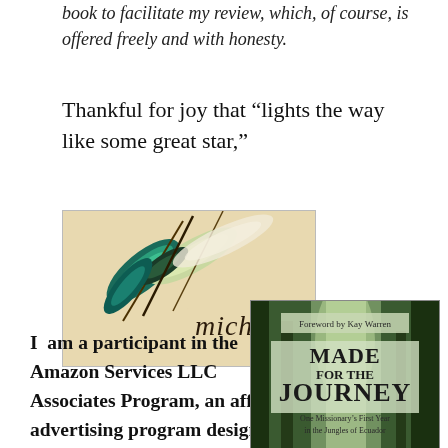book to facilitate my review, which, of course, is offered freely and with honesty.
Thankful for joy that “lights the way like some great star,”
[Figure (illustration): A decorative signature image with peacock feathers on a warm tan background and the cursive name 'Michele' written in script.]
I am a participant in the Amazon Services LLC Associates Program, an affiliate advertising program designed to provide a
[Figure (illustration): Book cover for 'Made for the Journey: One Missionary’s First Year in the Jungles of Ecuador' with Foreword by Kay Warren. Shows a forest scene.]